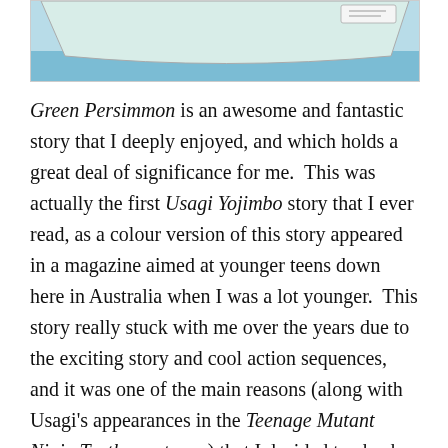[Figure (illustration): Bottom portion of a comic illustration showing a boat or ship on blue water with a light green/white hull visible at the top]
Green Persimmon is an awesome and fantastic story that I deeply enjoyed, and which holds a great deal of significance for me.  This was actually the first Usagi Yojimbo story that I ever read, as a colour version of this story appeared in a magazine aimed at younger teens down here in Australia when I was a lot younger.  This story really stuck with me over the years due to the exciting story and cool action sequences, and it was one of the main reasons (along with Usagi's appearances in the Teenage Mutant Ninja Turtles cartoons) that I decided to check out the Usagi Yojimbo comics in later life.  Needless to say, I am still very impressed with Green Persimmon years later; it is an enjoyable and